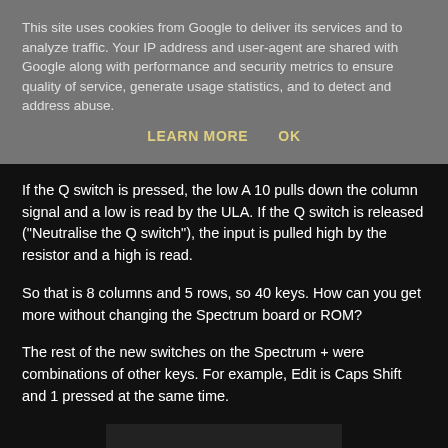This site uses cookies from Google to deliver its services and to analyze traffic. Your IP address and user-agent are shared with Google along with performance and security metrics to ensure quality of service, generate usage statistics, and to detect and address abuse.
LEARN MORE    OK
If the Q switch is pressed, the low A 10 pulls down the column signal and a low is read by the ULA. If the Q switch is released ("Neutralise the Q switch"), the input is pulled high by the resistor and a high is read.
So that is 8 columns and 5 rows, so 40 keys. How can you get more without changing the Spectrum board or ROM?
The rest of the new switches on the Spectrum + were combinations of other keys. For example, Edit is Caps Shift and 1 pressed at the same time.
[Figure (photo): Dark rectangular image area, partially visible at bottom of page]